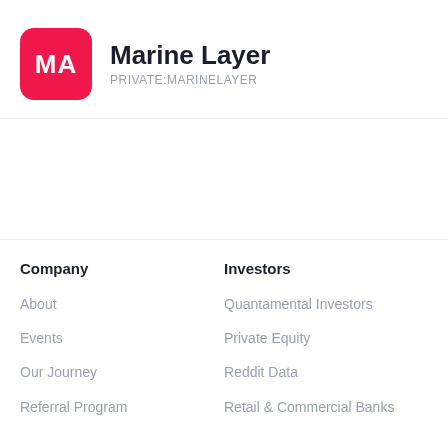[Figure (logo): Marine Layer company logo — red rounded square with white text 'MA']
Marine Layer
PRIVATE:MARINELAYER
Company
About
Events
Our Journey
Referral Program
Investors
Quantamental Investors
Private Equity
Reddit Data
Retail & Commercial Banks